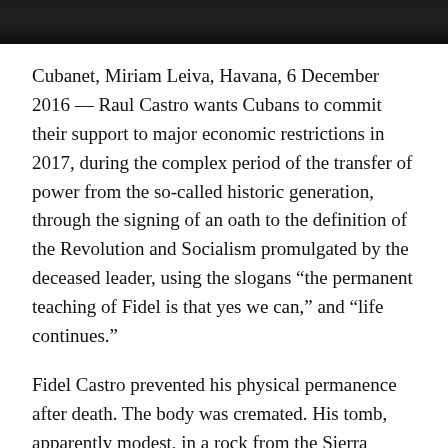[Figure (photo): Dark image strip at the top of the page, mostly black with faint detail visible]
Cubanet, Miriam Leiva, Havana, 6 December 2016 — Raul Castro wants Cubans to commit their support to major economic restrictions in 2017, during the complex period of the transfer of power from the so-called historic generation, through the signing of an oath to the definition of the Revolution and Socialism promulgated by the deceased leader, using the slogans “the permanent teaching of Fidel is that yes we can,” and “life continues.”
Fidel Castro prevented his physical permanence after death. The body was cremated. His tomb, apparently modest, in a rock from the Sierra